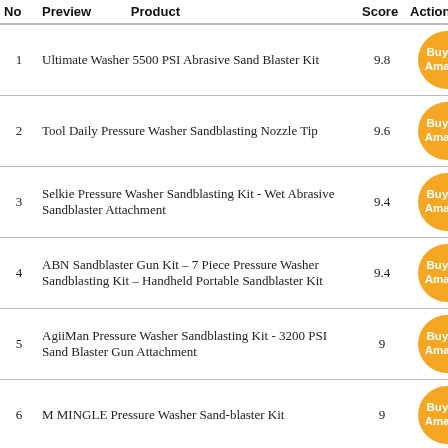| No | Preview | Product | Score | Action |
| --- | --- | --- | --- | --- |
| 1 |  | Ultimate Washer 5500 PSI Abrasive Sand Blaster Kit | 9.8 | Buy On Amazon |
| 2 |  | Tool Daily Pressure Washer Sandblasting Nozzle Tip | 9.6 | Buy On Amazon |
| 3 |  | Selkie Pressure Washer Sandblasting Kit - Wet Abrasive Sandblaster Attachment | 9.4 | Buy On Amazon |
| 4 |  | ABN Sandblaster Gun Kit – 7 Piece Pressure Washer Sandblasting Kit – Handheld Portable Sandblaster Kit | 9.4 | Buy On Amazon |
| 5 |  | AgiiMan Pressure Washer Sandblasting Kit - 3200 PSI Sand Blaster Gun Attachment | 9 | Buy On Amazon |
| 6 |  | M MINGLE Pressure Washer Sand-blaster Kit | 9 | Buy On Amazon |
| 7 |  | Sand Blaster For Pressure Washer - Wet Sandblasting Kit For Pressure Washer With Sand Blasting Nozzle Attachment | 8.8 | Buy On Amazon |